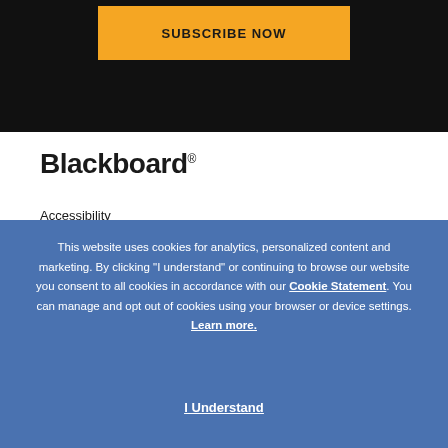[Figure (other): Black background banner area at top of page]
SUBSCRIBE NOW
[Figure (logo): Blackboard logo with registered trademark symbol]
Accessibility
This website uses cookies for analytics, personalized content and marketing. By clicking "I understand" or continuing to browse our website you consent to all cookies in accordance with our Cookie Statement. You can manage and opt out of cookies using your browser or device settings. Learn more.
I Understand